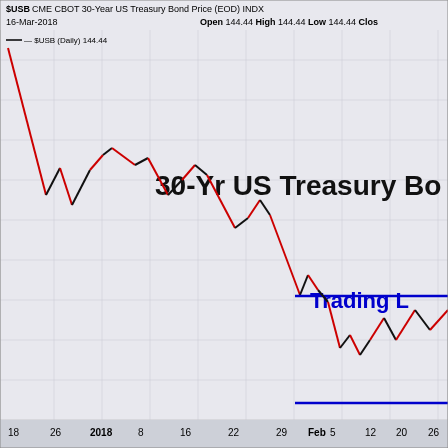[Figure (continuous-plot): CME CBOT 30-Year US Treasury Bond Price (EOD) daily line chart from mid-January 2018 through late February 2018, showing a downtrend from ~157 to ~144. Two horizontal blue lines mark trading levels. Date: 16-Mar-2018. Open 144.44 High 144.44 Low 144.44 Close. Legend shows $USB (Daily) 144.44. Red and black alternating line segments show the price decline with a horizontal blue support/resistance line around the 144-145 level and a lower blue line near the Feb 20-26 bottom area.]